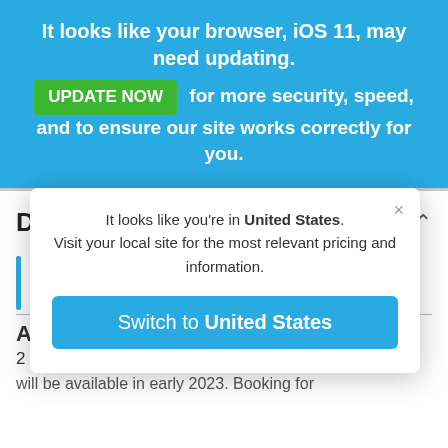It looks like your browser, iOS 11, may need updating. UPDATE NOW for more security, speed, and to ensure our site works correctly for you.
Day 7 - Departure Day
[Figure (screenshot): A modal dialog box with close button (×), text 'It looks like you're in United States. Visit your local site for the most relevant pricing and information.' and a blue button 'Switch to United States'.]
will be available in early 2023. Booking for